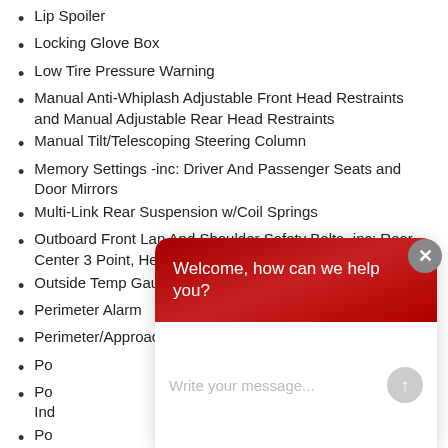Lip Spoiler
Locking Glove Box
Low Tire Pressure Warning
Manual Anti-Whiplash Adjustable Front Head Restraints and Manual Adjustable Rear Head Restraints
Manual Tilt/Telescoping Steering Column
Memory Settings -inc: Driver And Passenger Seats and Door Mirrors
Multi-Link Rear Suspension w/Coil Springs
Outboard Front Lap And Shoulder Safety Belts -inc: Rear Center 3 Point, Height Adjusters and Pretensioners
Outside Temp Gauge
Perimeter Alarm
Perimeter/Approach Lights
Po[wer...]
Po[wer...] Ind[ividual...]
Po[wer...]
Re[ar...]
Re[ar...]
Right & Left Individual Air Conditioner
[Figure (screenshot): Chat widget overlay with red header saying 'Welcome, how can we help you?' and a text input field with placeholder 'Write your message...' and a close button]